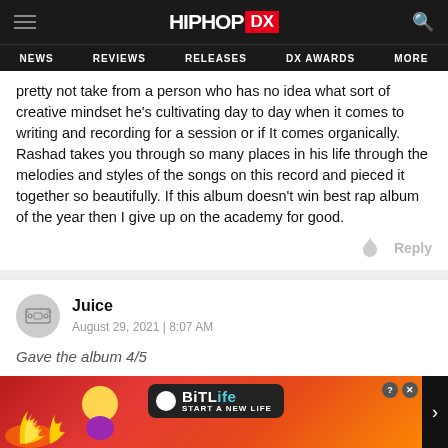HIPHOP DX — NEWS | REVIEWS | RELEASES | DX AWARDS | MORE
pretty not take from a person who has no idea what sort of creative mindset he's cultivating day to day when it comes to writing and recording for a session or if It comes organically. Rashad takes you through so many places in his life through the melodies and styles of the songs on this record and pieced it together so beautifully. If this album doesn't win best rap album of the year then I give up on the academy for good.
Juice
August 29, 2021 | 8:07 AM
Gave the album 4/5
Wort... ...e track...